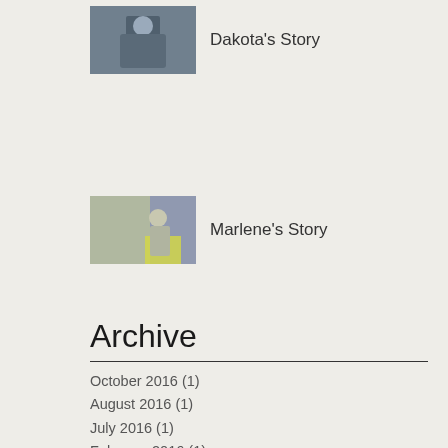[Figure (photo): Thumbnail photo of Dakota]
Dakota's Story
[Figure (photo): Thumbnail photo of Marlene]
Marlene's Story
Archive
October 2016 (1)
August 2016 (1)
July 2016 (1)
February 2016 (1)
January 2016 (1)
November 2015 (1)
October 2015 (1)
August 2015 (1)
July 2015 (2)